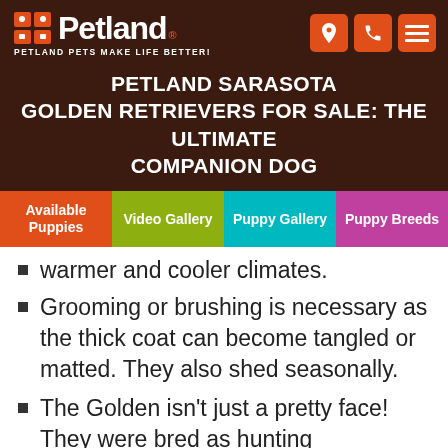Petland — PETLAND PETS MAKE LIFE BETTER!
PETLAND SARASOTA GOLDEN RETRIEVERS FOR SALE: THE ULTIMATE COMPANION DOG
Available Puppies | Video Gallery | Puppy Gallery | Puppy Breeds
warmer and cooler climates.
Grooming or brushing is necessary as the thick coat can become tangled or matted. They also shed seasonally.
The Golden isn't just a pretty face! They were bred as hunting companions, for which they are still used to this day.
The Golden Retriever is the most popular breed chosen to be service